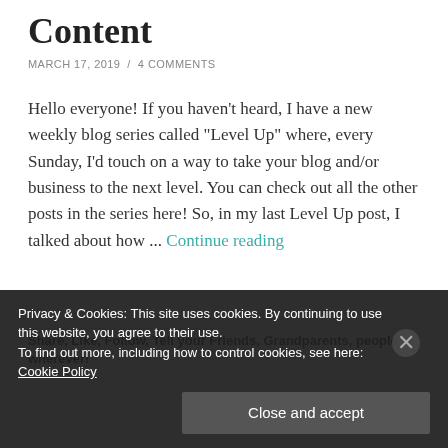Content
MARCH 17, 2019 / 4 COMMENTS
Hello everyone! If you haven't heard, I have a new weekly blog series called "Level Up" where, every Sunday, I'd touch on a way to take your blog and/or business to the next level. You can check out all the other posts in the series here! So, in my last Level Up post, I talked about how ... Continue reading
Share, Like, Follow, Tell your Friends, Grandparents, people at wherever!
Privacy & Cookies: This site uses cookies. By continuing to use this website, you agree to their use. To find out more, including how to control cookies, see here: Cookie Policy